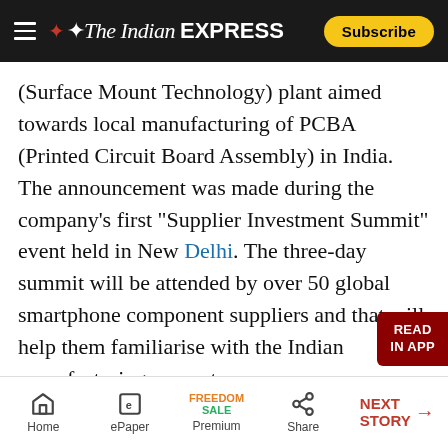The Indian EXPRESS
(Surface Mount Technology) plant aimed towards local manufacturing of PCBA (Printed Circuit Board Assembly) in India. The announcement was made during the company’s first “Supplier Investment Summit” event held in New Delhi. The three-day summit will be attended by over 50 global smartphone component suppliers and that will help them familiarise with the Indian manufacturing ecosystem.
“We’re staring the new SMT plant for a PCBA assembly in India”, Manu Kumar Jain, Xiaomi’s Managing Director for India, told reporters. The
Home | ePaper | Premium | Share | NEXT STORY